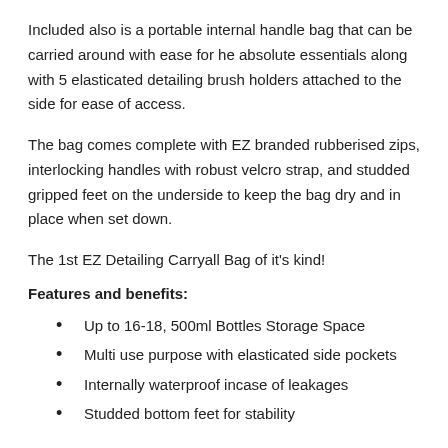Included also is a portable internal handle bag that can be carried around with ease for he absolute essentials along with 5 elasticated detailing brush holders attached to the side for ease of access.
The bag comes complete with EZ branded rubberised zips, interlocking handles with robust velcro strap, and studded gripped feet on the underside to keep the bag dry and in place when set down.
The 1st EZ Detailing Carryall Bag of it's kind!
Features and benefits:
Up to 16-18, 500ml Bottles Storage Space
Multi use purpose with elasticated side pockets
Internally waterproof incase of leakages
Studded bottom feet for stability